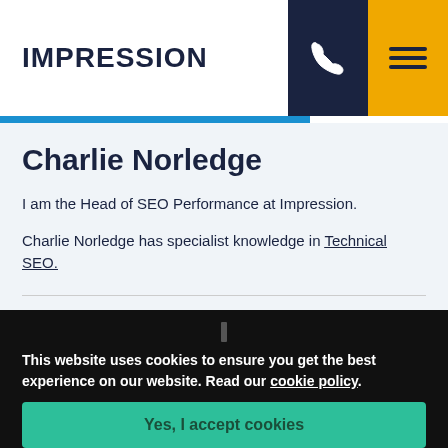IMPRESSION
Charlie Norledge
I am the Head of SEO Performance at Impression.
Charlie Norledge has specialist knowledge in Technical SEO.
Share this article
This website uses cookies to ensure you get the best experience on our website. Read our cookie policy.
Yes, I accept cookies